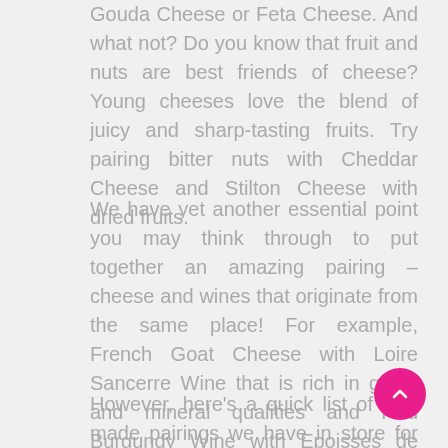Gouda Cheese or Feta Cheese. And what not? Do you know that fruit and nuts are best friends of cheese? Young cheeses love the blend of juicy and sharp-tasting fruits. Try pairing bitter nuts with Cheddar Cheese and Stilton Cheese with dried fruits.
We have yet another essential point you may think through to put together an amazing pairing – cheese and wines that originate from the same place! For example, French Goat Cheese with Loire Sancerre Wine that is rich in grass and mineral qualities and Red Burgundy Wine with Epoisses de Bourgogne Cheese that has a skin washed with a brandy made with Burgandian grape skins.
However, here's a quick list of pre-made pairings we have in store for you if you are